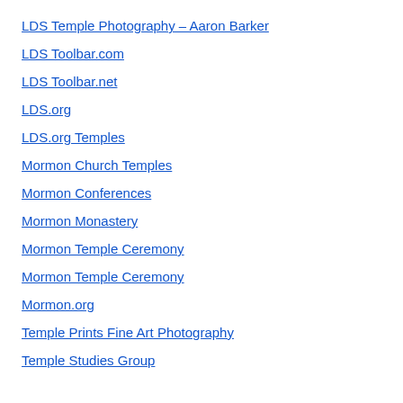LDS Temple Photography – Aaron Barker
LDS Toolbar.com
LDS Toolbar.net
LDS.org
LDS.org Temples
Mormon Church Temples
Mormon Conferences
Mormon Monastery
Mormon Temple Ceremony
Mormon Temple Ceremony
Mormon.org
Temple Prints Fine Art Photography
Temple Studies Group